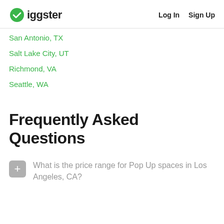Giggster | Log In | Sign Up
San Antonio, TX
Salt Lake City, UT
Richmond, VA
Seattle, WA
Frequently Asked Questions
What is the price range for Pop Up spaces in Los Angeles, CA?